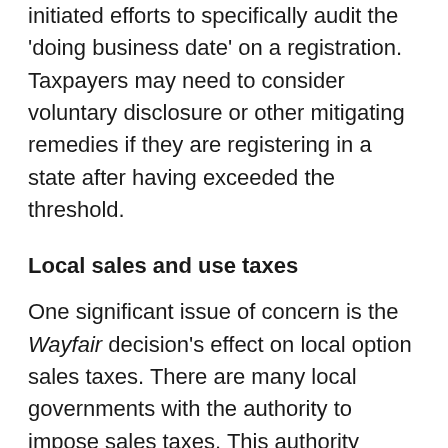initiated efforts to specifically audit the 'doing business date' on a registration. Taxpayers may need to consider voluntary disclosure or other mitigating remedies if they are registering in a state after having exceeded the threshold.
Local sales and use taxes
One significant issue of concern is the Wayfair decision's effect on local option sales taxes. There are many local governments with the authority to impose sales taxes. This authority varies widely by state. Some localities in select states have authority to impose and administer their own sales and use taxes, often in 'home rule' jurisdictions.